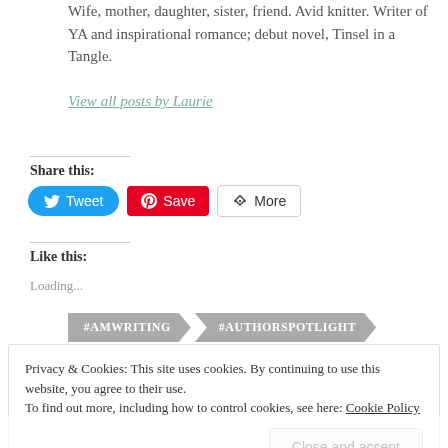Wife, mother, daughter, sister, friend. Avid knitter. Writer of YA and inspirational romance; debut novel, Tinsel in a Tangle.
View all posts by Laurie
Share this:
Tweet  Save  More
Like this:
Loading...
#AMWRITING  #AUTHORSPOTLIGHT
Privacy & Cookies: This site uses cookies. By continuing to use this website, you agree to their use. To find out more, including how to control cookies, see here: Cookie Policy
Close and accept